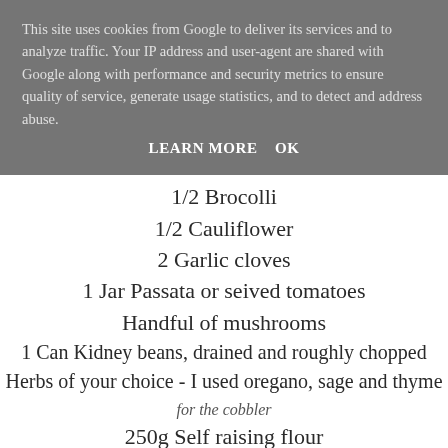This site uses cookies from Google to deliver its services and to analyze traffic. Your IP address and user-agent are shared with Google along with performance and security metrics to ensure quality of service, generate usage statistics, and to detect and address abuse.
LEARN MORE   OK
1/2 Brocolli
1/2 Cauliflower
2 Garlic cloves
1 Jar Passata or seived tomatoes
Handful of mushrooms
1 Can Kidney beans, drained and roughly chopped
Herbs of your choice - I used oregano, sage and thyme
for the cobbler
250g Self raising flour
60g Unsalted butter